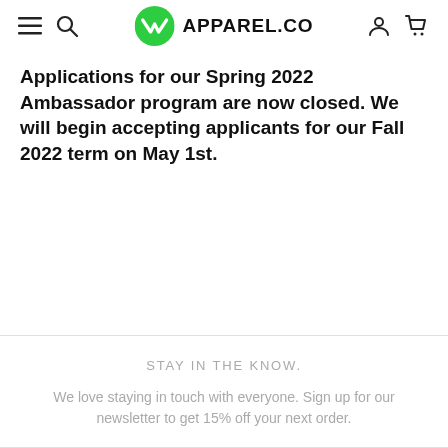APPAREL.CO
Applications for our Spring 2022 Ambassador program are now closed. We will begin accepting applicants for our Fall 2022 term on May 1st.
STAY IN THE KNOW.
We love staying in touch with everyone. Sign up for our newsletter to get 15% off your next order.